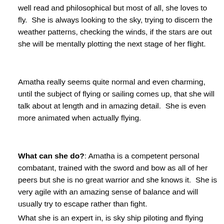well read and philosophical but most of all, she loves to fly.  She is always looking to the sky, trying to discern the weather patterns, checking the winds, if the stars are out she will be mentally plotting the next stage of her flight.
Amatha really seems quite normal and even charming, until the subject of flying or sailing comes up, that she will talk about at length and in amazing detail.  She is even more animated when actually flying.
What can she do?: Amatha is a competent personal combatant, trained with the sword and bow as all of her peers but she is no great warrior and she knows it.  She is very agile with an amazing sense of balance and will usually try to escape rather than fight.
What she is an expert in, is sky ship piloting and flying